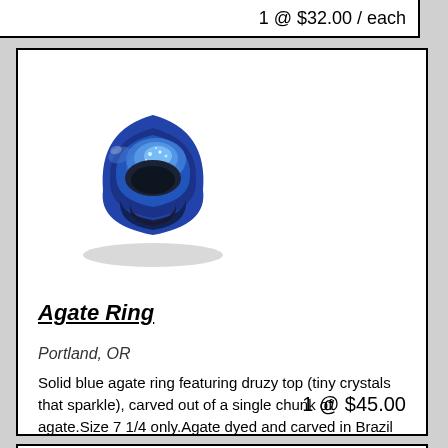1 @ $32.00 / each
[Figure (photo): Blue agate ring with druzy top, carved from a single chunk of blue agate stone, photographed on white background]
Agate Ring
Portland, OR
Solid blue agate ring featuring druzy top (tiny crystals that sparkle), carved out of a single chunk of agate.Size 7 1/4 only.Agate dyed and carved in Brazil ... more
1 @ $45.00